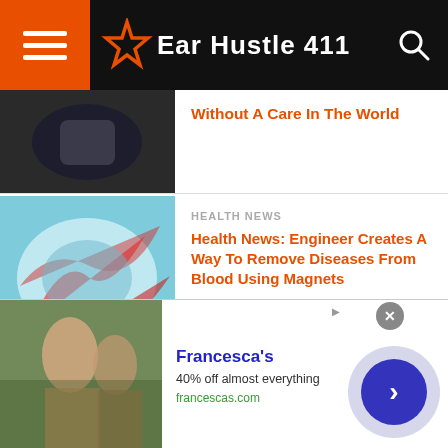Ear Hustle 411
Without A Care In The World
HEALTH NEWS
Health News: Engineer Creates A Way To Remove Diseases From Blood Using Magnets
NEWS
2-Year Old Dies When Father Spends Over $150K Donated To Him For Treatment On Drugs & Prostitutes
NEWS
[Figure (photo): Advertisement banner for Francesca's showing people]
Francesca's
40% off almost everything
francescas.com